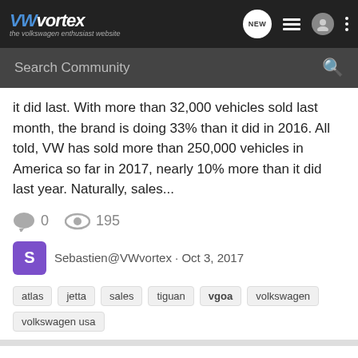VWvortex — the volkswagen enthusiast website
it did last. With more than 32,000 vehicles sold last month, the brand is doing 33% than it did in 2016. All told, VW has sold more than 250,000 vehicles in America so far in 2017, nearly 10% more than it did last year. Naturally, sales...
0   195
Sebastien@VWvortex · Oct 3, 2017
atlas   jetta   sales   tiguan   vgoa   volkswagen   volkswagen usa
Expanded Production in U.S. Hinges on Trump Trade Decision, Volkswagen Hints
Volkswagen News Blog
Volkswagen's sole U.S. assembly plant was spared any